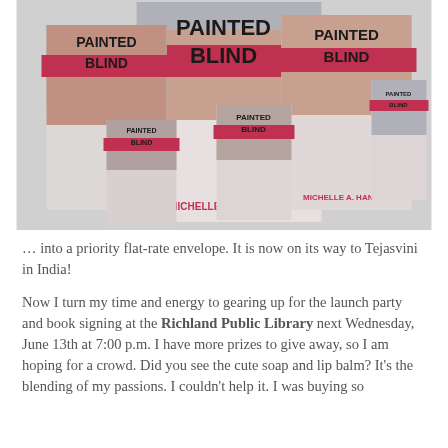[Figure (photo): Photo of multiple copies of the book 'Painted Blind' by Michelle A. Hansen spread out on a surface. The book covers show a woman with a red blindfold across her face.]
… into a priority flat-rate envelope. It is now on its way to Tejasvini in India!
Now I turn my time and energy to gearing up for the launch party and book signing at the Richland Public Library next Wednesday, June 13th at 7:00 p.m. I have more prizes to give away, so I am hoping for a crowd. Did you see the cute soap and lip balm? It's the blending of my passions. I couldn't help it. I was buying so